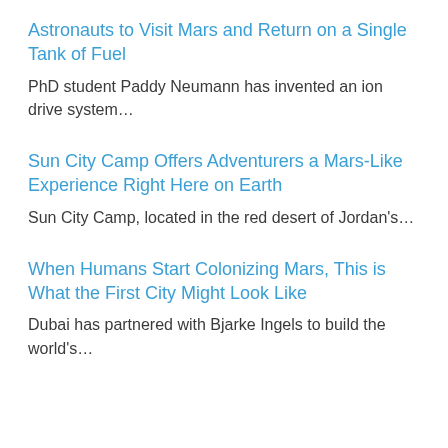Astronauts to Visit Mars and Return on a Single Tank of Fuel
PhD student Paddy Neumann has invented an ion drive system…
Sun City Camp Offers Adventurers a Mars-Like Experience Right Here on Earth
Sun City Camp, located in the red desert of Jordan's…
When Humans Start Colonizing Mars, This is What the First City Might Look Like
Dubai has partnered with Bjarke Ingels to build the world's…